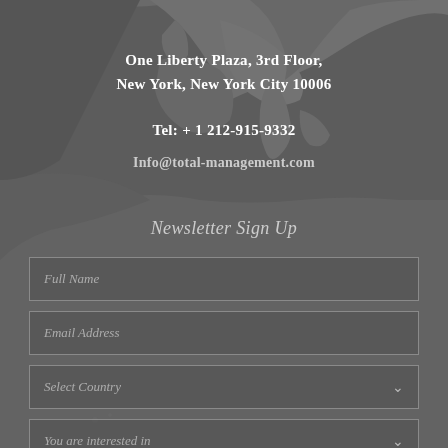One Liberty Plaza, 3rd Floor,
New York, New York City 10006
Tel: + 1 212-915-9332
Info@total-management.com
Newsletter Sign Up
Full Name
Email Address
Select Country
You are interested in